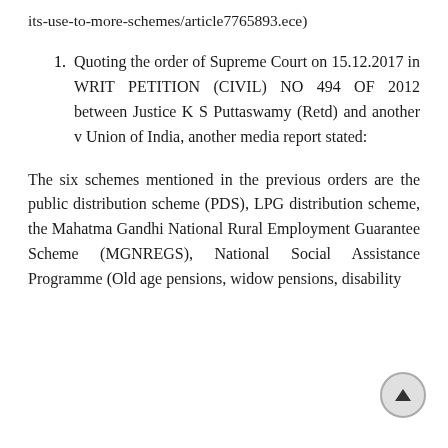its-use-to-more-schemes/article7765893.ece)
Quoting the order of Supreme Court on 15.12.2017 in WRIT PETITION (CIVIL) NO 494 OF 2012 between Justice K S Puttaswamy (Retd) and another v Union of India, another media report stated:
The six schemes mentioned in the previous orders are the public distribution scheme (PDS), LPG distribution scheme, the Mahatma Gandhi National Rural Employment Guarantee Scheme (MGNREGS), National Social Assistance Programme (Old age pensions, widow pensions, disability